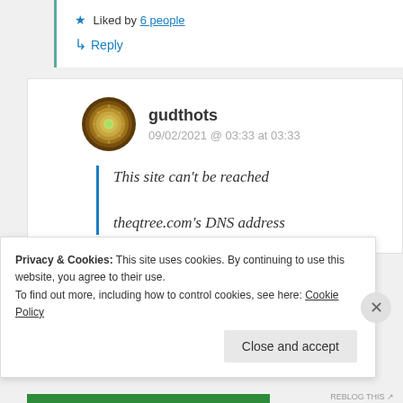★ Liked by 6 people
↳ Reply
gudthots
09/02/2021 @ 03:33 at 03:33
This site can't be reached theqtree.com's DNS address
Privacy & Cookies: This site uses cookies. By continuing to use this website, you agree to their use. To find out more, including how to control cookies, see here: Cookie Policy
Close and accept